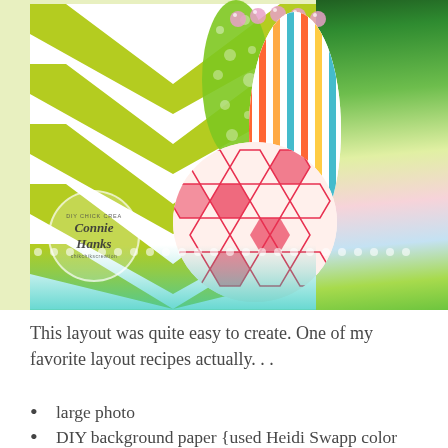[Figure (photo): Craft scrapbooking photo showing colorful Easter egg decorations — green chevron patterned background, striped and hexagon-patterned eggs in orange/red/teal/pink, green polka-dot ribbon, pink gems at top, teal sparkle at bottom, and a circular watermark reading 'DIY Chick Creations / Connie Hanks'. Right side shows a blurry bokeh photo of colorful craft materials.]
This layout was quite easy to create. One of my favorite layout recipes actually. . .
large photo
DIY background paper {used Heidi Swapp color magic